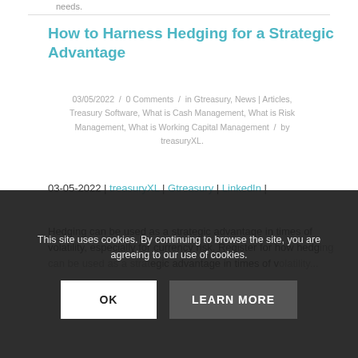needs.
How to Harness Hedging for a Strategic Advantage
03/05/2022  /  0 Comments  /  in Gtreasury, News | Articles, Treasury Software, What is Cash Management, What is Risk Management, What is Working Capital Management  /  by treasuryXL.
03-05-2022 | treasuryXL | Gtreasury | LinkedIn |
Hedging can be used as a strategic advantage in times of volatility, especially for currency risk. Register for how hedging can be used as a strategic advantage in times of v...
This site uses cookies. By continuing to browse the site, you are agreeing to our use of cookies.